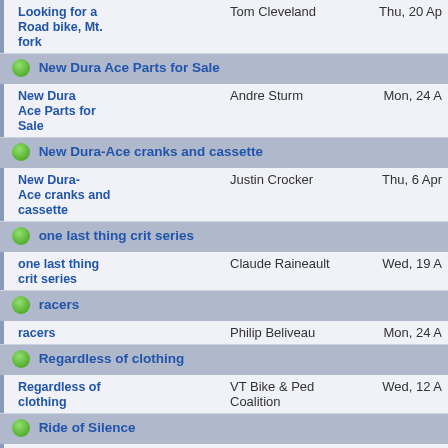| Topic | Author | Date |
| --- | --- | --- |
| Looking for a Road bike, Mt. fork | Tom Cleveland | Thu, 20 Ap… |
| New Dura Ace Parts for Sale |  |  |
| New Dura Ace Parts for Sale | Andre Sturm | Mon, 24 A… |
| New Dura-Ace cranks and cassette |  |  |
| New Dura-Ace cranks and cassette | Justin Crocker | Thu, 6 Apr… |
| one last thing crit series |  |  |
| one last thing crit series | Claude Raineault | Wed, 19 A… |
| racers |  |  |
| racers | Philip Beliveau | Mon, 24 A… |
| Regardless of clothing |  |  |
| Regardless of clothing | VT Bike & Ped Coalition | Wed, 12 A… |
| Ride of Silence |  |  |
| Ride of | Danielle Graham | Fri, 7 Apr… |